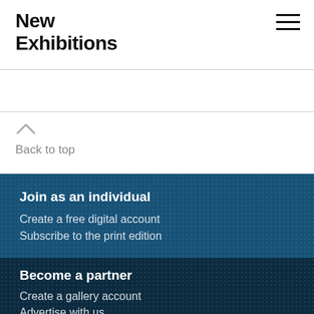New Exhibitions
Back to top
Join as an individual
Create a free digital account
Subscribe to the print edition
Become a partner
Create a gallery account
Advertise with us